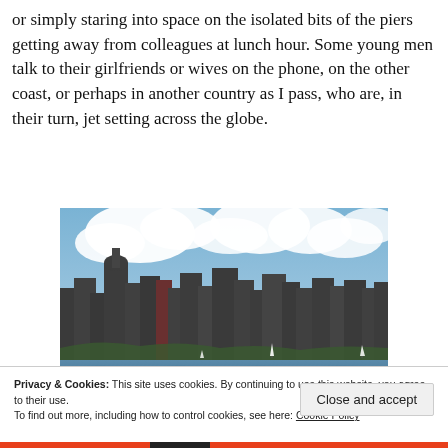or simply staring into space on the isolated bits of the piers getting away from colleagues at lunch hour. Some young men talk to their girlfriends or wives on the phone, on the other coast, or perhaps in another country as I pass, who are, in their turn, jet setting across the globe.
[Figure (photo): Photograph of a city skyline (appears to be Manhattan/New York City) viewed from across a body of water, with clouds in the sky and sailboats visible on the water.]
Privacy & Cookies: This site uses cookies. By continuing to use this website, you agree to their use.
To find out more, including how to control cookies, see here: Cookie Policy